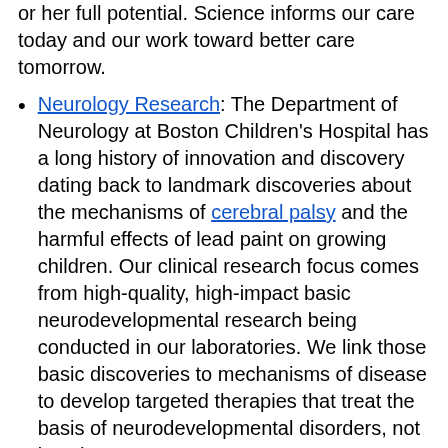or her full potential. Science informs our care today and our work toward better care tomorrow.
Neurology Research: The Department of Neurology at Boston Children's Hospital has a long history of innovation and discovery dating back to landmark discoveries about the mechanisms of cerebral palsy and the harmful effects of lead paint on growing children. Our clinical research focus comes from high-quality, high-impact basic neurodevelopmental research being conducted in our laboratories. We link those basic discoveries to mechanisms of disease to develop targeted therapies that treat the basis of neurodevelopmental disorders, not just the symptoms.
Neuropsychology: The Neuropsychology Program helps patients cope with problems of learning, memory, organization, and emotional control resulting from brain injuries or neurological disorders.
NICU GraDS: The NICU Growth and Developmental Support Program (NICU GraDS) provides ongoing medical and developmental evaluation and support for the children and their families.